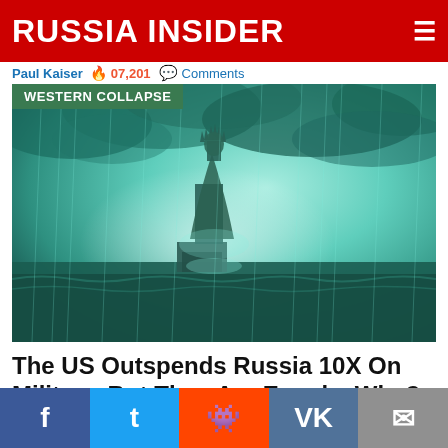RUSSIA INSIDER
Paul Kaiser 🔥 07,201 💬 Comments
[Figure (photo): Stylized image of the Statue of Liberty submerged in stormy ocean water with dramatic teal-tinted sky and rain, with 'WESTERN COLLAPSE' category badge overlaid top-left]
The US Outspends Russia 10X On Military, But They Are Equals. Why?
Dmitry Orlov (Club Orlov) 🔥 74,420 💬 Comments